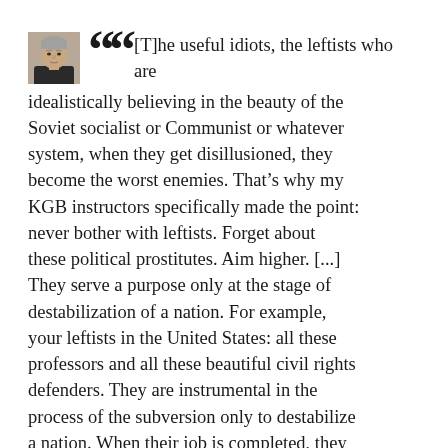[Figure (photo): Small square portrait photo of an older man with gray hair, wearing a dark jacket, against a neutral background.]
[T]he useful idiots, the leftists who are idealistically believing in the beauty of the Soviet socialist or Communist or whatever system, when they get disillusioned, they become the worst enemies. That's why my KGB instructors specifically made the point: never bother with leftists. Forget about these political prostitutes. Aim higher. [...] They serve a purpose only at the stage of destabilization of a nation. For example, your leftists in the United States: all these professors and all these beautiful civil rights defenders. They are instrumental in the process of the subversion only to destabilize a nation. When their job is completed, they are not needed any more. They know too much. Some of them, when they get disillusioned, when they see that Marxist-Leninists come to power—obviously they get offended—they think that they will come to power. That will never happen, of course. They will be lined up against the wall and